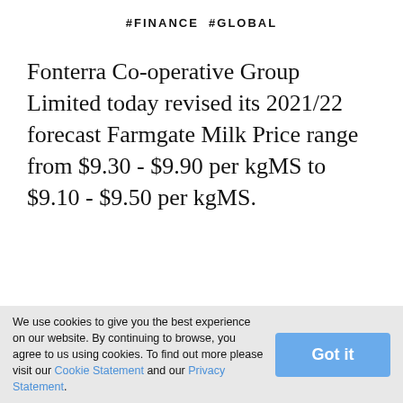#FINANCE #GLOBAL
Fonterra Co-operative Group Limited today revised its 2021/22 forecast Farmgate Milk Price range from $9.30 - $9.90 per kgMS to $9.10 - $9.50 per kgMS.
This reduces the midpoint of the range, which farmers are paid off, from $9.60 per kgMS to $9.30 per kgMS.
We use cookies to give you the best experience on our website. By continuing to browse, you agree to us using cookies. To find out more please visit our Cookie Statement and our Privacy Statement.